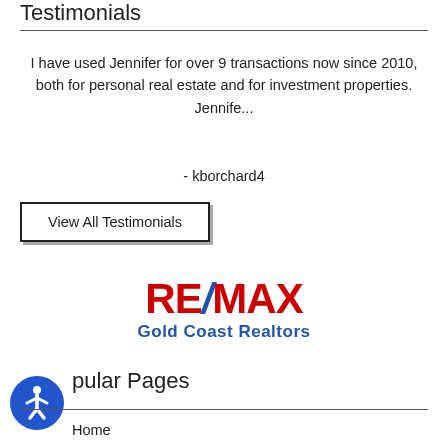Testimonials
I have used Jennifer for over 9 transactions now since 2010, both for personal real estate and for investment properties. Jennife...
- kborchard4
View All Testimonials
[Figure (logo): RE/MAX Gold Coast Realtors logo with red RE/MAX text and blue slash, subtitle 'Gold Coast Realtors' in blue]
Popular Pages
Home